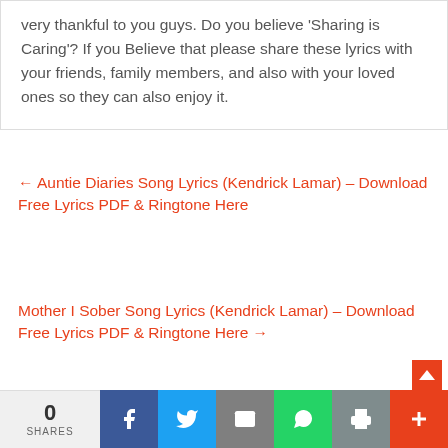very thankful to you guys. Do you believe 'Sharing is Caring'? If you Believe that please share these lyrics with your friends, family members, and also with your loved ones so they can also enjoy it.
← Auntie Diaries Song Lyrics (Kendrick Lamar) – Download Free Lyrics PDF & Ringtone Here
Mother I Sober Song Lyrics (Kendrick Lamar) – Download Free Lyrics PDF & Ringtone Here →
Leave a Reply
0 SHARES | Facebook | Twitter | Email | WhatsApp | Print | +